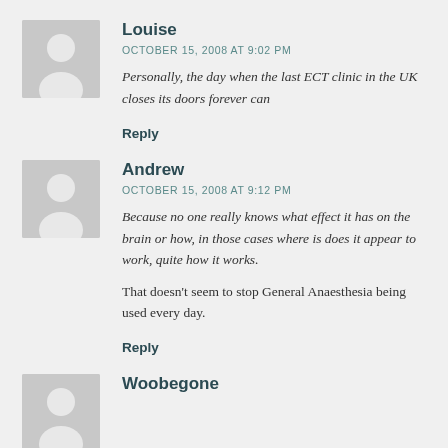Louise
OCTOBER 15, 2008 AT 9:02 PM
Personally, the day when the last ECT clinic in the UK closes its doors forever can
Reply
Andrew
OCTOBER 15, 2008 AT 9:12 PM
Because no one really knows what effect it has on the brain or how, in those cases where is does it appear to work, quite how it works.
That doesn't seem to stop General Anaesthesia being used every day.
Reply
Woobegone